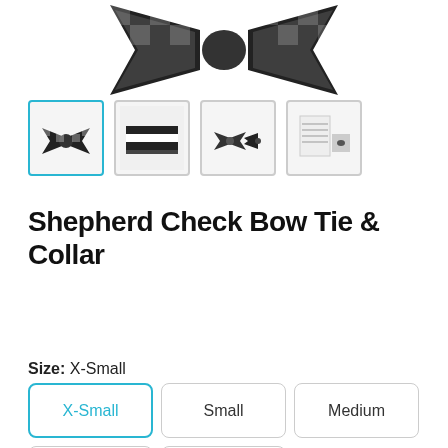[Figure (photo): Product photo of black and white shepherd check bow tie and collar, cropped at top]
[Figure (photo): Thumbnail 1 (selected): bow tie and collar product, black/white check pattern]
[Figure (photo): Thumbnail 2: collar laid flat, black stripes]
[Figure (photo): Thumbnail 3: bow tie accessories]
[Figure (photo): Thumbnail 4: product information sheet]
Shepherd Check Bow Tie & Collar
Save 17%
Size: X-Small
X-Small
Small
Medium
Large
X-Large